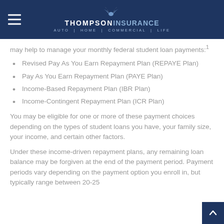THOMPSON INSURANCE | AUTO | HOME | COMMERCIAL | LIFE
may help to manage your monthly federal student loan payments:¹
Revised Pay As You Earn Repayment Plan (REPAYE Plan)
Pay As You Earn Repayment Plan (PAYE Plan)
Income-Based Repayment Plan (IBR Plan)
Income-Contingent Repayment Plan (ICR Plan)
You may be eligible for one or more of these payment choices depending on the types of student loans you have, your family size, your income, and certain other factors.
Under these income-driven repayment plans, any remaining loan balance may be forgiven at the end of the payment period. Payment periods vary depending on the payment option you enroll in, but typically range between 20-25